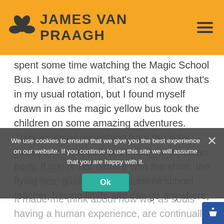JAMES VAN PRAAGH
spent some time watching the Magic School Bus. I have to admit, that’s not a show that’s in my usual rotation, but I found myself drawn in as the magic yellow bus took the children on some amazing adventures. They explored everything from the solar system, to an anthill, to the cells in a human body. If you’re not familiar with the show, the flying bus, guided by an eccentric school teacher, has no limits and can go anywhere,
immersing the students in the various experiences.
A magic school bus for your soul.
It made me think about how we, as souls having a human experience, are continually
We use cookies to ensure that we give you the best experience on our website. If you continue to use this site we will assume that you are happy with it.